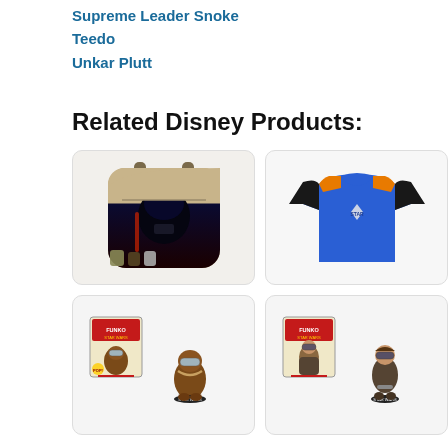Supreme Leader Snoke
Teedo
Unkar Plutt
Related Disney Products:
[Figure (photo): Star Wars Darth Vader themed backpack in tan/beige color with Funko characters at bottom]
[Figure (photo): Blue and orange Star Wars t-shirt with black sleeves and Star Wars logo on chest]
[Figure (photo): Funko Pop Star Wars Solo Chewbacca figure with box, flocked variant]
[Figure (photo): Funko Pop Star Wars Solo Han Solo figure with box and standalone figure with goggles]